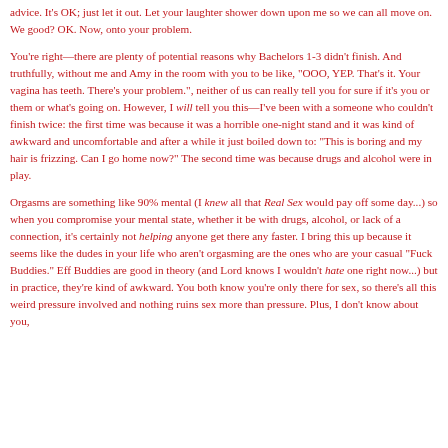advice. It's OK; just let it out. Let your laughter shower down upon me so we can all move on. We good? OK. Now, onto your problem.
You're right—there are plenty of potential reasons why Bachelors 1-3 didn't finish. And truthfully, without me and Amy in the room with you to be like, "OOO, YEP. That's it. Your vagina has teeth. There's your problem.", neither of us can really tell you for sure if it's you or them or what's going on. However, I will tell you this—I've been with a someone who couldn't finish twice: the first time was because it was a horrible one-night stand and it was kind of awkward and uncomfortable and after a while it just boiled down to: "This is boring and my hair is frizzing. Can I go home now?" The second time was because drugs and alcohol were in play.
Orgasms are something like 90% mental (I knew all that Real Sex would pay off some day...) so when you compromise your mental state, whether it be with drugs, alcohol, or lack of a connection, it's certainly not helping anyone get there any faster. I bring this up because it seems like the dudes in your life who aren't orgasming are the ones who are your casual "Fuck Buddies." Eff Buddies are good in theory (and Lord knows I wouldn't hate one right now...) but in practice, they're kind of awkward. You both know you're only there for sex, so there's all this weird pressure involved and nothing ruins sex more than pressure. Plus, I don't know about you,